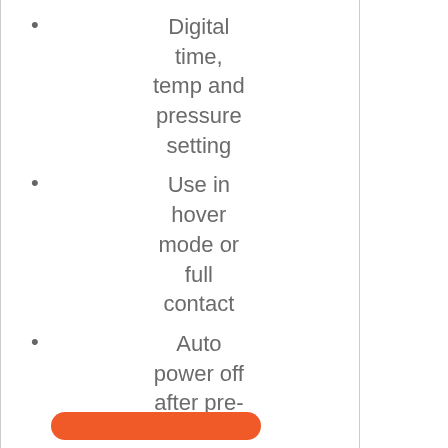Digital time, temp and pressure setting
Use in hover mode or full contact
Auto power off after pre-set time of inactivity